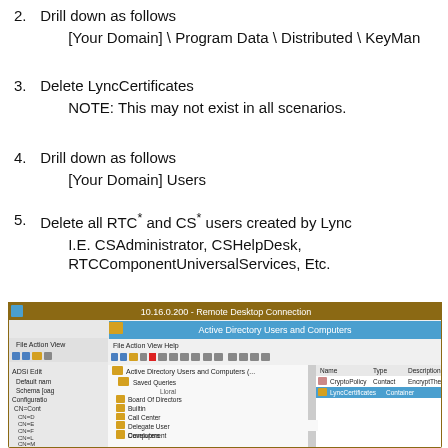2. Drill down as follows
[Your Domain] \ Program Data \ Distributed \ KeyMan
3. Delete LyncCertificates
NOTE: This may not exist in all scenarios.
4. Drill down as follows
[Your Domain] Users
5. Delete all RTC* and CS* users created by Lync
I.E. CSAdministrator, CSHelpDesk, RTCComponentUniversalServices, Etc.
[Figure (screenshot): Screenshot of Remote Desktop Connection (10.16.0.200) showing Active Directory Users and Computers window. Left panel shows ADSi Edit tree with Default name, Schema, Configuration, CN=Cont and sub-items CN=D, CN=E, CN=F, CN=L, CN=M, CN=P, CN=P, CN=S nodes, and on right a folder tree showing Saved Queries, Lloral, Board Of Directors, Builtin, Call Center, Chain Stores, Computers, Delegate User, Development, DirectAccess, Distribution Group, Domain Controllers, Domain\security folders. Right pane shows Name column with CryptoPolicy (Contact, EncryptThe) and LyncCertificates (Container) highlighted in blue.]